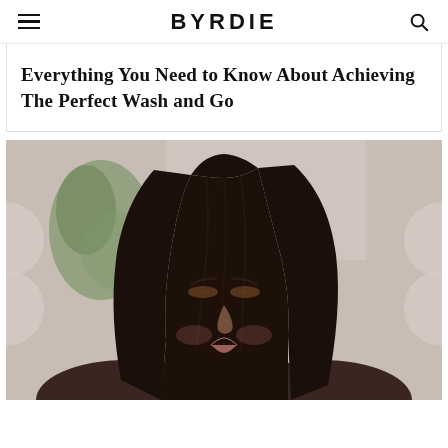BYRDIE
Everything You Need to Know About Achieving The Perfect Wash and Go
[Figure (photo): A woman with long dark brown/black hair, looking downward with eyes nearly closed, wearing makeup with warm eyeshadow. Background shows a blurred green plant and light-colored wall.]